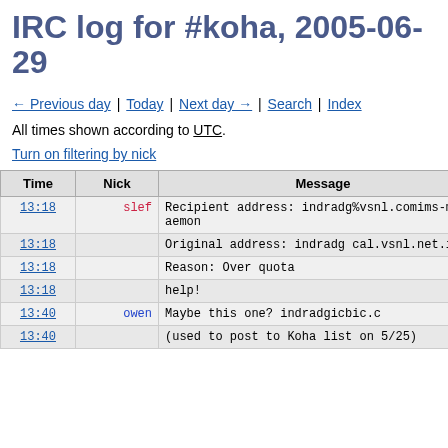IRC log for #koha, 2005-06-29
← Previous day | Today | Next day → | Search | Index
All times shown according to UTC.
Turn on filtering by nick
| Time | Nick | Message |
| --- | --- | --- |
| 13:18 | slef | Recipient address: indradg%vsnl.comims-ms-daemon |
| 13:18 |  | Original address: indradg cal.vsnl.net.in |
| 13:18 |  | Reason: Over quota |
| 13:18 |  | help! |
| 13:40 | owen | Maybe this one? indradgicbic.c |
| 13:40 |  | (used to post to Koha list on 5/25) |